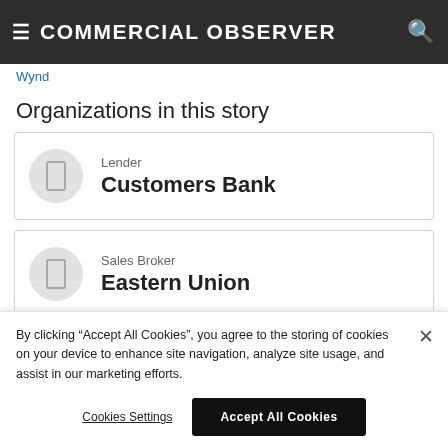COMMERCIAL OBSERVER
Wynd
Organizations in this story
Lender
Customers Bank
Sales Broker
Eastern Union
By clicking "Accept All Cookies", you agree to the storing of cookies on your device to enhance site navigation, analyze site usage, and assist in our marketing efforts.
Cookies Settings
Accept All Cookies